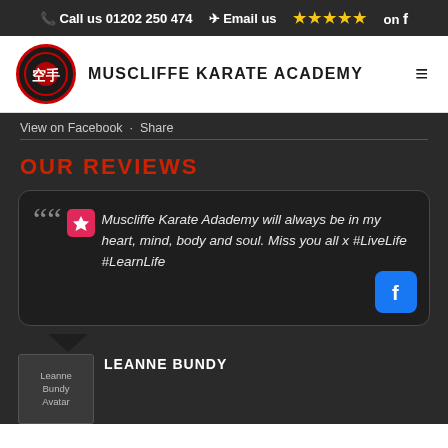Call us 01202 250 474  Email us  ★★★★★ on f
[Figure (logo): Muscliffe Karate Academy circular logo with red border and karate kanji]
MUSCLIFFE KARATE ACADEMY
View on Facebook · Share
OUR REVIEWS
Muscliffe Karate Adademy will always be in my heart, mind, body and soul. Miss you all x #LiveLife #LearnLife
LEANNE BUNDY